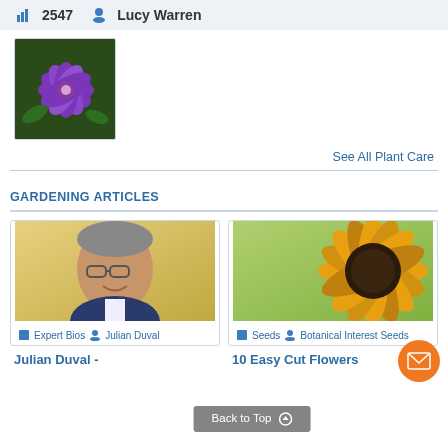2547   Lucy Warren
[Figure (photo): Purple clematis flower close-up photo]
See All Plant Care
GARDENING ARTICLES
[Figure (photo): Portrait photo of Julian Duval, a middle-aged man with glasses smiling]
Expert Bios   Julian Duval
[Figure (photo): Close-up of a dark sunflower with yellow and brown petals]
Seeds   Botanical Interest Seeds
Julian Duval -
10 Easy Cut Flowers
Back to Top